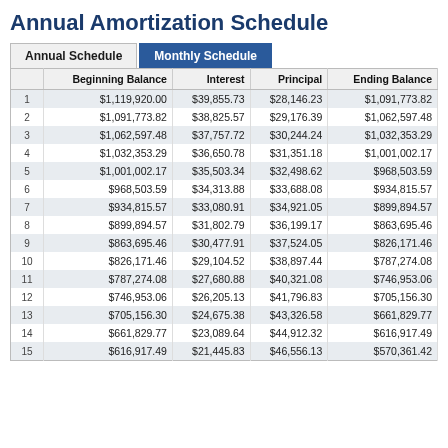Annual Amortization Schedule
|  | Beginning Balance | Interest | Principal | Ending Balance |
| --- | --- | --- | --- | --- |
| 1 | $1,119,920.00 | $39,855.73 | $28,146.23 | $1,091,773.82 |
| 2 | $1,091,773.82 | $38,825.57 | $29,176.39 | $1,062,597.48 |
| 3 | $1,062,597.48 | $37,757.72 | $30,244.24 | $1,032,353.29 |
| 4 | $1,032,353.29 | $36,650.78 | $31,351.18 | $1,001,002.17 |
| 5 | $1,001,002.17 | $35,503.34 | $32,498.62 | $968,503.59 |
| 6 | $968,503.59 | $34,313.88 | $33,688.08 | $934,815.57 |
| 7 | $934,815.57 | $33,080.91 | $34,921.05 | $899,894.57 |
| 8 | $899,894.57 | $31,802.79 | $36,199.17 | $863,695.46 |
| 9 | $863,695.46 | $30,477.91 | $37,524.05 | $826,171.46 |
| 10 | $826,171.46 | $29,104.52 | $38,897.44 | $787,274.08 |
| 11 | $787,274.08 | $27,680.88 | $40,321.08 | $746,953.06 |
| 12 | $746,953.06 | $26,205.13 | $41,796.83 | $705,156.30 |
| 13 | $705,156.30 | $24,675.38 | $43,326.58 | $661,829.77 |
| 14 | $661,829.77 | $23,089.64 | $44,912.32 | $616,917.49 |
| 15 | $616,917.49 | $21,445.83 | $46,556.13 | $570,361.42 |